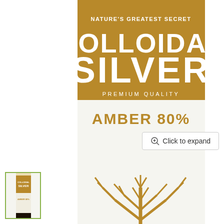[Figure (photo): Product photo of a Colloidal Silver bottle by Nature's Greatest Secret, Amber 80% Premium Quality, Antibacterial, Free From Nano Particles, with gold label and tree logo, shown cropped showing the label area of an amber glass bottle.]
Click to expand
[Figure (photo): Small thumbnail of the same Colloidal Silver bottle product image, outlined with a green border.]